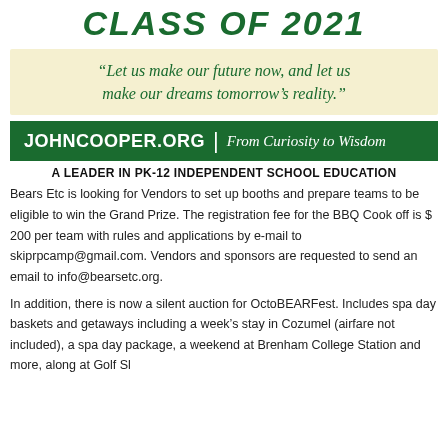CLASS of 2021
“Let us make our future now, and let us make our dreams tomorrow’s reality.”
[Figure (logo): Green banner with JOHNCOOPER.ORG in bold white text, vertical divider, and italic script text 'From Curiosity to Wisdom']
A LEADER IN PK-12 INDEPENDENT SCHOOL EDUCATION
Bears Etc is looking for Vendors to set up booths and prepare teams to be eligible to win the Grand Prize. The registration fee for the BBQ Cook off is $ 200 per team with rules and applications by e-mail to skiprpcamp@gmail.com. Vendors and sponsors are requested to send an email to info@bearsetc.org.
In addition, there is now a silent auction for OctoBEARFest. Includes spa day baskets and getaways including a week’s stay in Cozumel (airfare not included), a spa day package, a weekend at Brenham College Station and more, along at Golf Sl...